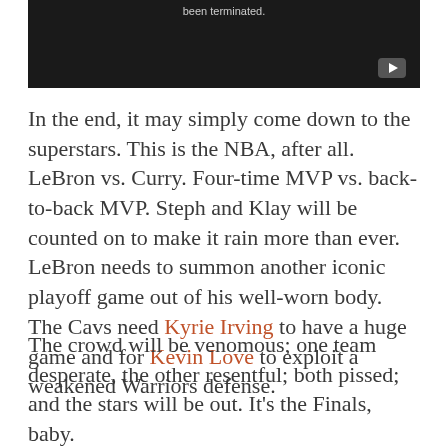[Figure (other): Embedded video player with dark background showing 'been terminated.' text and a play button in the bottom right corner.]
In the end, it may simply come down to the superstars. This is the NBA, after all. LeBron vs. Curry. Four-time MVP vs. back-to-back MVP. Steph and Klay will be counted on to make it rain more than ever. LeBron needs to summon another iconic playoff game out of his well-worn body. The Cavs need Kyrie Irving to have a huge game and for Kevin Love to exploit a weakened Warriors defense.
The crowd will be venomous; one team desperate, the other resentful; both pissed; and the stars will be out. It's the Finals, baby.